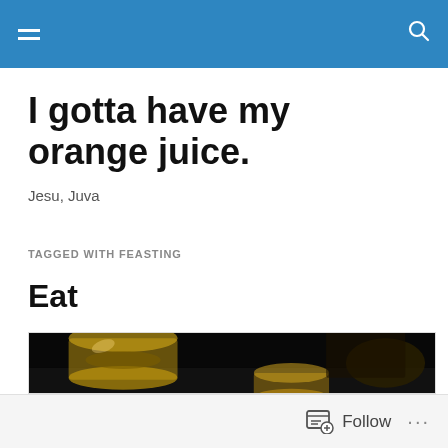Navigation header with menu and search icons
I gotta have my orange juice.
Jesu, Juva
TAGGED WITH FEASTING
Eat
[Figure (photo): Dark photograph showing golden/amber glass cups or bowls on a dark background, lit with warm golden light]
Follow ...